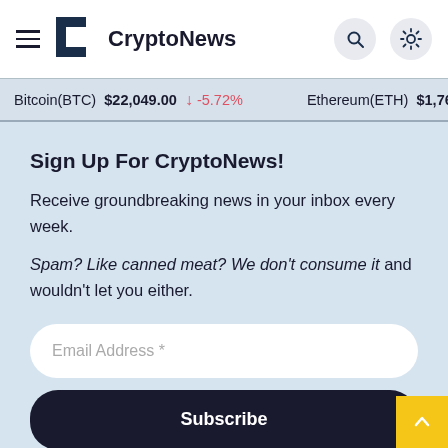CryptoNews
Bitcoin(BTC) $22,049.00 ↓ -5.72%   Ethereum(ETH) $1,760.75
Sign Up For CryptoNews!
Receive groundbreaking news in your inbox every week.
Spam? Like canned meat? We don't consume it and wouldn't let you either.
Email Address *
Subscribe